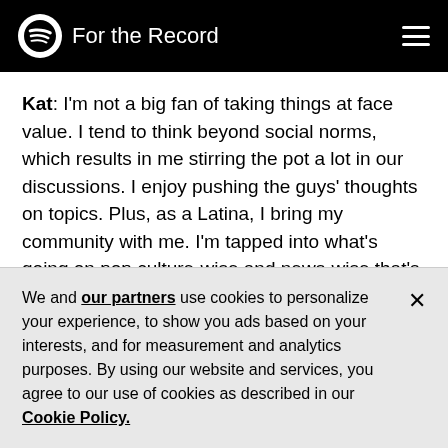For the Record
Kat: I'm not a big fan of taking things at face value. I tend to think beyond social norms, which results in me stirring the pot a lot in our discussions. I enjoy pushing the guys' thoughts on topics. Plus, as a Latina, I bring my community with me. I'm tapped into what's going on pop culture-wise and news-wise that's affecting us.
Speedy: I'll be bringing my experience in hosting and interviewing to the show, along with my inquisitive
We and our partners use cookies to personalize your experience, to show you ads based on your interests, and for measurement and analytics purposes. By using our website and services, you agree to our use of cookies as described in our Cookie Policy.